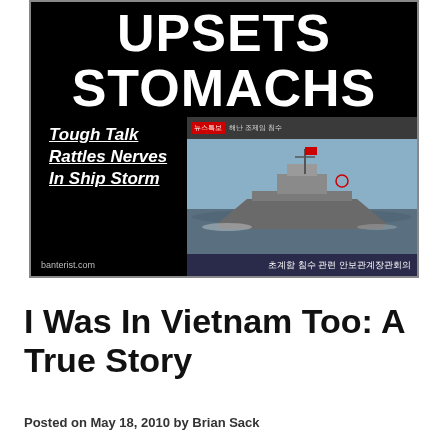[Figure (screenshot): Newspaper-style satirical image on black background with bold white text 'UPSETS STOMACHS' headline, a subheadline 'Tough Talk Rattles Nerves In Ship Storm' in white bold italic font, and a Korean TV news screenshot showing a military ship with Korean text caption '초계함 침수 관련 안보관계장관회의'. Site credit 'banterist.com' in corner.]
I Was In Vietnam Too: A True Story
Posted on May 18, 2010 by Brian Sack